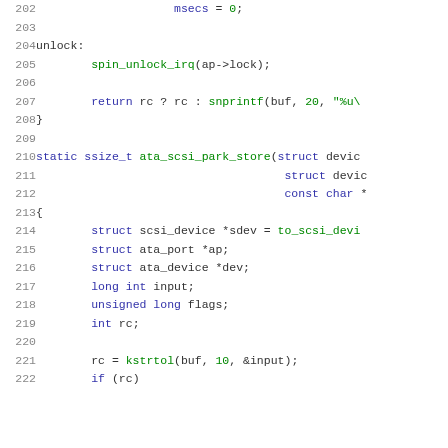Source code listing lines 202-222 showing C kernel code with unlock label, spin_unlock_irq, return statement, ata_scsi_park_store function, and variable declarations including struct scsi_device, ata_port, ata_device, long int input, unsigned long flags, int rc, kstrtol call, and if(rc) check.